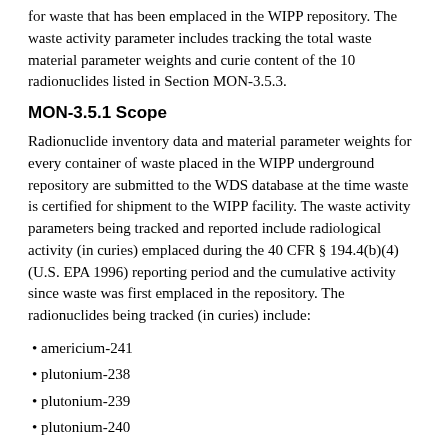for waste that has been emplaced in the WIPP repository. The waste activity parameter includes tracking the total waste material parameter weights and curie content of the 10 radionuclides listed in Section MON-3.5.3.
MON-3.5.1 Scope
Radionuclide inventory data and material parameter weights for every container of waste placed in the WIPP underground repository are submitted to the WDS database at the time waste is certified for shipment to the WIPP facility. The waste activity parameters being tracked and reported include radiological activity (in curies) emplaced during the 40 CFR § 194.4(b)(4) (U.S. EPA 1996) reporting period and the cumulative activity since waste was first emplaced in the repository. The radionuclides being tracked (in curies) include:
americium-241
plutonium-238
plutonium-239
plutonium-240
plutonium-242